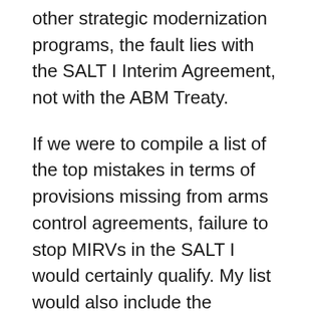other strategic modernization programs, the fault lies with the SALT I Interim Agreement, not with the ABM Treaty.
If we were to compile a list of the top mistakes in terms of provisions missing from arms control agreements, failure to stop MIRVs in the SALT I would certainly qualify. My list would also include the absence of a ban on underground testing in the 1963 Limited Test Ban Treaty. But this post focuses on what was agreed to, not what was out of reach.